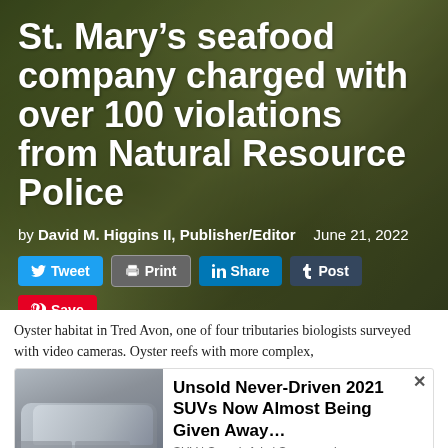St. Mary's seafood company charged with over 100 violations from Natural Resource Police
by David M. Higgins II, Publisher/Editor   June 21, 2022
[Figure (screenshot): Social media share buttons: Tweet (Twitter), Print, Share (LinkedIn), Post (Tumblr), Save (Pinterest), Email]
Oyster habitat in Tred Avon, one of four tributaries biologists surveyed with video cameras. Oyster reefs with more complex,
[Figure (screenshot): Advertisement: Unsold Never-Driven 2021 SUVs Now Almost Being Given Away... SUV | Search Ads | Sponsored, with image of cars]